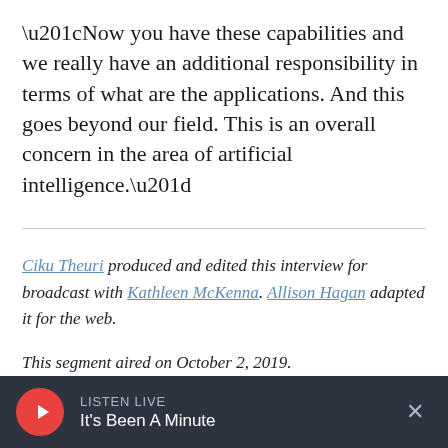“Now you have these capabilities and we really have an additional responsibility in terms of what are the applications. And this goes beyond our field. This is an overall concern in the area of artificial intelligence.”
Ciku Theuri produced and edited this interview for broadcast with Kathleen McKenna. Allison Hagan adapted it for the web.
This segment aired on October 2, 2019.
LISTEN LIVE
It's Been A Minute